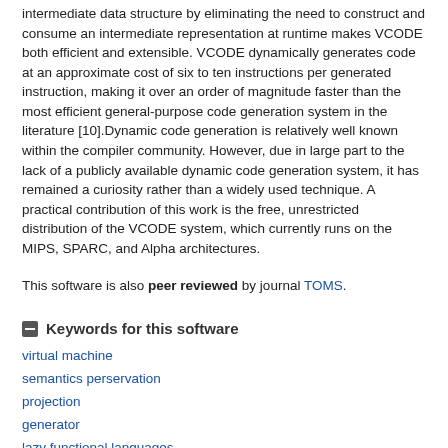intermediate data structure by eliminating the need to construct and consume an intermediate representation at runtime makes VCODE both efficient and extensible. VCODE dynamically generates code at an approximate cost of six to ten instructions per generated instruction, making it over an order of magnitude faster than the most efficient general-purpose code generation system in the literature [10].Dynamic code generation is relatively well known within the compiler community. However, due in large part to the lack of a publicly available dynamic code generation system, it has remained a curiosity rather than a widely used technique. A practical contribution of this work is the free, unrestricted distribution of the VCODE system, which currently runs on the MIPS, SPARC, and Alpha architectures.
This software is also peer reviewed by journal TOMS.
Keywords for this software
virtual machine
semantics perservation
projection
generator
lazy functional languages
compiler technology
semantics-based multi-stage programming language design